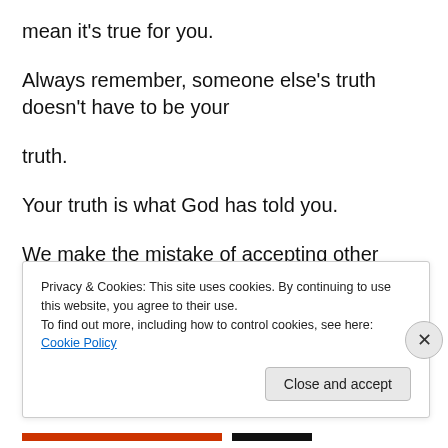mean it's true for you.
Always remember, someone else's truth doesn't have to be your
truth.
Your truth is what God has told you.
We make the mistake of accepting other people's truth about
[truncated line]
Privacy & Cookies: This site uses cookies. By continuing to use this website, you agree to their use.
To find out more, including how to control cookies, see here: Cookie Policy
Close and accept